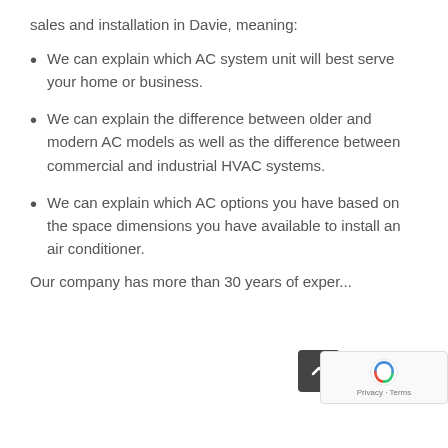sales and installation in Davie, meaning:
We can explain which AC system unit will best serve your home or business.
We can explain the difference between older and modern AC models as well as the difference between commercial and industrial HVAC systems.
We can explain which AC options you have based on the space dimensions you have available to install an air conditioner.
Our company has more than 30 years of exper...